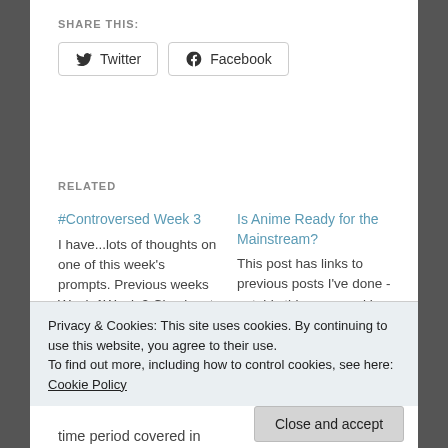SHARE THIS:
Twitter  Facebook
RELATED
#Controversed Week 3
I have...lots of thoughts on one of this week's prompts. Previous weeks Week 1Week 2 Check out this Stack
November 19, 2020
Is Anime Ready for the Mainstream?
This post has links to previous posts I've done - notably this one - and is a response to Dewbond's question.
Privacy & Cookies: This site uses cookies. By continuing to use this website, you agree to their use.
To find out more, including how to control cookies, see here: Cookie Policy
Close and accept
time period covered in